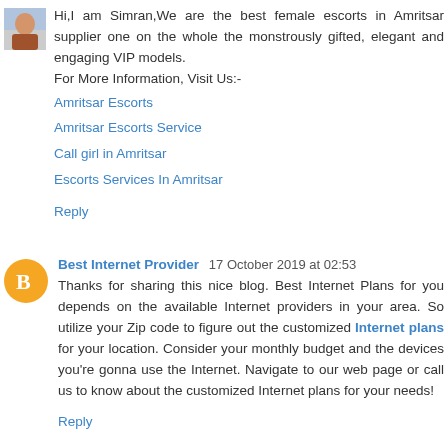[Figure (photo): Small profile photo thumbnail of a person in top-left corner]
Hi,I am Simran,We are the best female escorts in Amritsar supplier one on the whole the monstrously gifted, elegant and engaging VIP models.
For More Information, Visit Us:-
Amritsar Escorts
Amritsar Escorts Service
Call girl in Amritsar
Escorts Services In Amritsar
Reply
[Figure (illustration): Orange circle avatar with white blogger 'B' icon]
Best Internet Provider  17 October 2019 at 02:53
Thanks for sharing this nice blog. Best Internet Plans for you depends on the available Internet providers in your area. So utilize your Zip code to figure out the customized Internet plans for your location. Consider your monthly budget and the devices you're gonna use the Internet. Navigate to our web page or call us to know about the customized Internet plans for your needs!
Reply